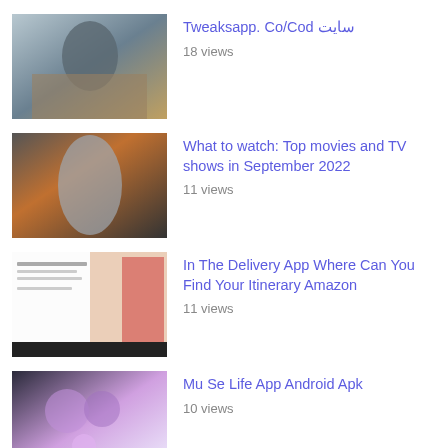سایت Tweaksapp. Co/Cod
18 views
What to watch: Top movies and TV shows in September 2022
11 views
In The Delivery App Where Can You Find Your Itinerary Amazon
11 views
Mu Se Life App Android Apk
10 views
PSU general insurance unions warn
10 views